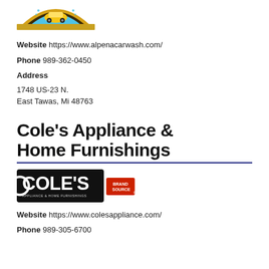[Figure (logo): Alpena Car Wash logo - partial, top of page, showing arch with car wash branding]
Website  https://www.alpenacarwash.com/
Phone  989-362-0450
Address
1748 US-23 N.
East Tawas, Mi 48763
Cole's Appliance & Home Furnishings
[Figure (logo): Cole's Appliance & Home Furnishings logo with Brand Source badge]
Website  https://www.colesappliance.com/
Phone  989-305-6700